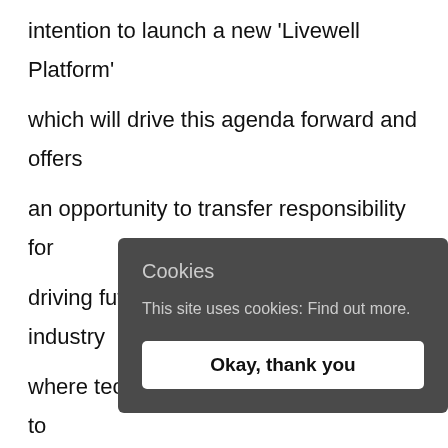intention to launch a new 'Livewell Platform' which will drive this agenda forward and offers an opportunity to transfer responsibility for driving future salt reduction to the food industry where technically possible. FDII intends to monitor the impact of reformulation over the past five years and on an ongoing basis over the next five y...
While the... products ... call for co... free options and to reduce discretionary salt
Cookies
This site uses cookies: Find out more.
Okay, thank you